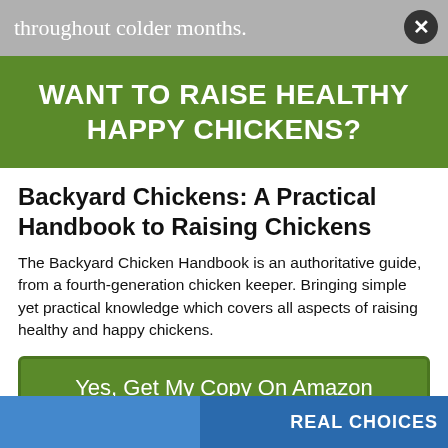throughout colder months.
WANT TO RAISE HEALTHY HAPPY CHICKENS?
Backyard Chickens: A Practical Handbook to Raising Chickens
The Backyard Chicken Handbook is an authoritative guide, from a fourth-generation chicken keeper. Bringing simple yet practical knowledge which covers all aspects of raising healthy and happy chickens.
Yes, Get My Copy On Amazon
No Thank You